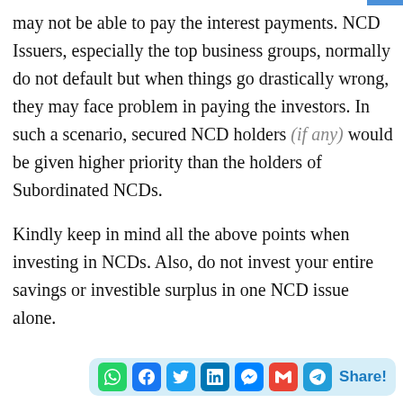may not be able to pay the interest payments. NCD Issuers, especially the top business groups, normally do not default but when things go drastically wrong, they may face problem in paying the investors. In such a scenario, secured NCD holders (if any) would be given higher priority than the holders of Subordinated NCDs.
Kindly keep in mind all the above points when investing in NCDs. Also, do not invest your entire savings or investible surplus in one NCD issue alone.